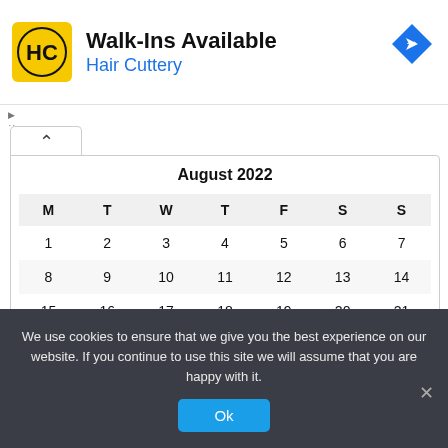[Figure (logo): Hair Cuttery advertisement banner with HC logo, 'Walk-Ins Available' heading, 'Hair Cuttery' subtitle in blue, and a blue navigation/directions icon on the right]
| M | T | W | T | F | S | S |
| --- | --- | --- | --- | --- | --- | --- |
| 1 | 2 | 3 | 4 | 5 | 6 | 7 |
| 8 | 9 | 10 | 11 | 12 | 13 | 14 |
| 15 | 16 | 17 | 18 | 19 | 20 | 21 |
We use cookies to ensure that we give you the best experience on our website. If you continue to use this site we will assume that you are happy with it.